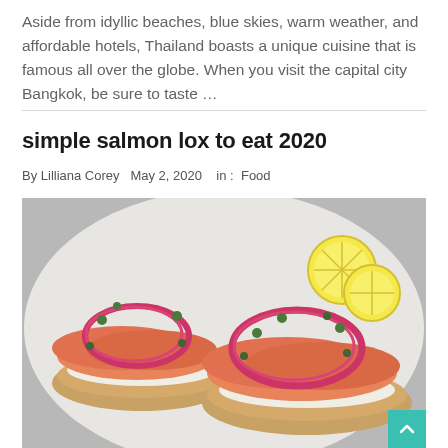Aside from idyllic beaches, blue skies, warm weather, and affordable hotels, Thailand boasts a unique cuisine that is famous all over the globe. When you visit the capital city Bangkok, be sure to taste …
simple salmon lox to eat 2020
By Lilliana Corey   May 2, 2020   in :  Food
[Figure (photo): Photo of salmon lox on bagels topped with red onion rings and capers, served on a white plate with lemon slices]